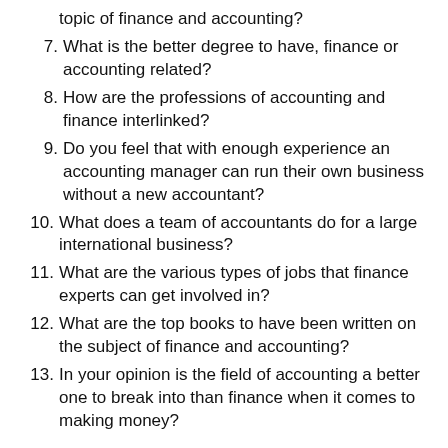topic of finance and accounting?
7. What is the better degree to have, finance or accounting related?
8. How are the professions of accounting and finance interlinked?
9. Do you feel that with enough experience an accounting manager can run their own business without a new accountant?
10. What does a team of accountants do for a large international business?
11. What are the various types of jobs that finance experts can get involved in?
12. What are the top books to have been written on the subject of finance and accounting?
13. In your opinion is the field of accounting a better one to break into than finance when it comes to making money?
Hopefully, you are impressed with the list of titles above and have the ability to easily select one that you like. There are so